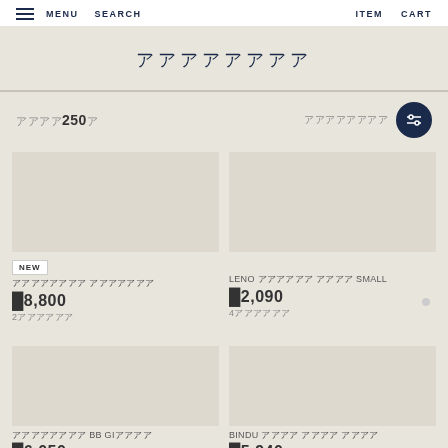MENU  SEARCH  ITEM  CART
（Japanese characters）
（Japanese）250（Japanese character） （Japanese characters）
NEW
（Japanese characters）
¥8,800
2（Japanese characters）
LENO （Japanese characters） SMALL
¥2,090
4（Japanese characters）
（Japanese characters） BB GI（Japanese characters）
¥6,050
BINDU （Japanese characters）
¥5,940